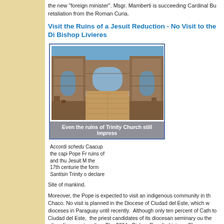the new "foreign minister". Msgr. Mamberti is succeeding Cardinal Bu retaliation from the Roman Curia.
Visit the Ruins of a Jesuit Reduction - No Visit to the Di Bishop Livieres
[Figure (photo): Ruins of Trinity Church (Jesuit Reduction) in Paraguay - brick archways and stone walls remain standing under a clear blue sky, with a brick-paved central path.]
Even the ruins of Trinity Church still impress
Accordi schedu Caacup the capi Pope Fr ruins of and thu Jesuit M the 17th centurie the form Santisin Trinity o declare
Site of mankind.
Moreover, the Pope is expected to visit an indigenous community in th Chaco. No visit is planned in the Diocese of Ciudad del Este, which w dioceses in Paraguay until recently.  Although only ten percent of Cath to Ciudad del Este,  the priest candidates of its diocesan seminary ou the other dioceses together. The 2004  Bishop Rogelio Livieres Plano